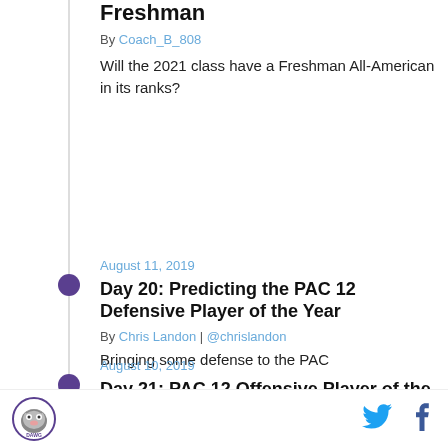Freshman
By Coach_B_808
Will the 2021 class have a Freshman All-American in its ranks?
August 11, 2019
Day 20: Predicting the PAC 12 Defensive Player of the Year
By Chris Landon | @chrislandon
Bringing some defense to the PAC
August 10, 2019
Day 21: PAC 12 Offensive Player of the Year Candidates
By Chris Landon | @chrislandon
[Figure (logo): Dawg Nation site logo with husky mascot, circular purple border]
[Figure (logo): Twitter bird icon in blue]
[Figure (logo): Facebook f icon in dark blue]